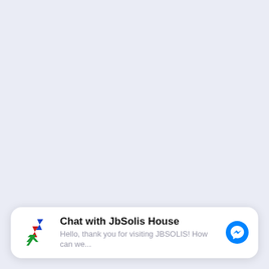[Figure (screenshot): Chat widget bar at the bottom of a webpage. Contains the JbSolis House logo (stylized colorful B-like shape), bold text 'Chat with JbSolis House', subtext 'Hello, thank you for visiting JBSOLIS! How can we...', and a blue Facebook Messenger icon on the right. Background is light blue-gray.]